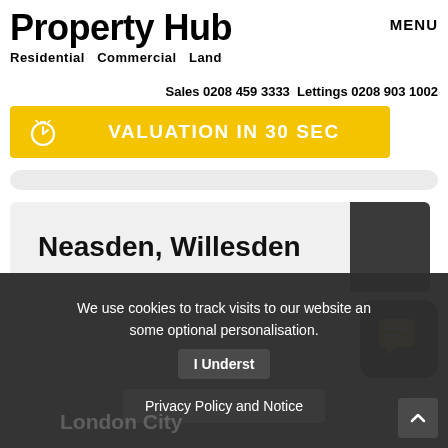Property Hub
Residential   Commercial   Land
MENU
Sales 0208 459 3333 Lettings 0208 903 1002
VALUATION IN 30 SEC
Neasden, Willesden
We use cookies to track visits to our website an some optional personalisation.
I Underst
Privacy Policy and Notice